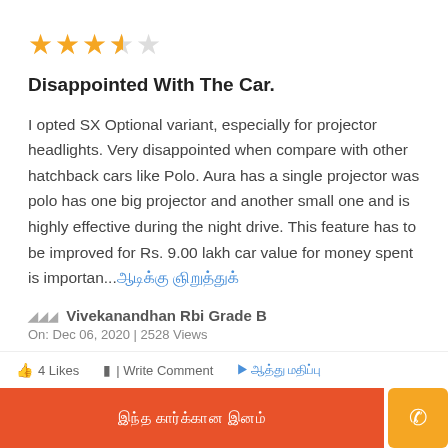[Figure (other): 3.5 out of 5 stars rating (3 filled stars, 0.5 half star, 1 empty star shown as 3 filled orange and 1 empty)]
Disappointed With The Car.
I opted SX Optional variant, especially for projector headlights. Very disappointed when compare with other hatchback cars like Polo. Aura has a single projector was polo has one big projector and another small one and is highly effective during the night drive. This feature has to be improved for Rs. 9.00 lakh car value for money spent is importan... [read more in Tamil script]
வீ Vivekanandhan Rbi Grade B
On: Dec 06, 2020 | 2528 Views
4 Likes  | Write Comment  [Tamil text]
[Tamil text CTA button]  [Phone icon]